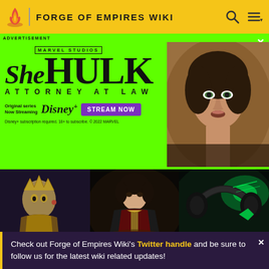FORGE OF EMPIRES WIKI
[Figure (screenshot): She-Hulk: Attorney at Law Disney+ advertisement banner on green background with actress photo on the right. Text: MARVEL STUDIOS, She HULK ATTORNEY AT LAW, Original series Now Streaming, Disney+, STREAM NOW, Disney+ subscription required. 18+ to subscribe. © 2022 MARVEL]
ADVERTISEMENT
[Figure (photo): Three gaming-related images side by side: animated character (fantasy game), person wearing Hogwarts-style robe, gaming headset with green Razer branding]
Play This | PC Gaming in 2022
Check out Forge of Empires Wiki's Twitter handle and be sure to follow us for the latest wiki related updates!